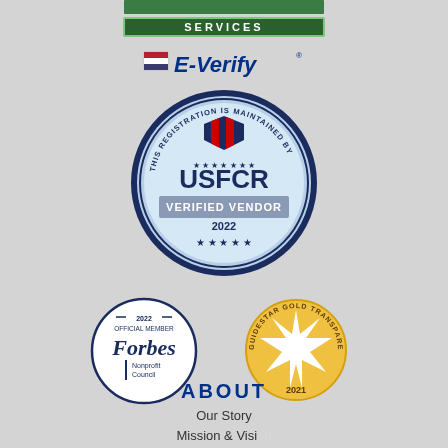[Figure (logo): Green services banner logo with text 'SERVICES' in bold white letters on dark green background with green border]
[Figure (logo): E-Verify logo with American flag icon and blue italic text 'E-Verify']
[Figure (logo): USFCR Verified Vendor 2022 circular badge with navy blue border, stars, shield icon with red and white stripes, text 'THIS REGISTRATION IS MAINTAINED BY USFCR VERIFIED VENDOR 2022']
[Figure (logo): Forbes Nonprofit Council 2022 Official Member circular badge in navy blue]
[Figure (logo): GuideStar Gold Transparency 2021 circular badge with gold background and star burst]
ABOUT
Our Story
Mission & Vision